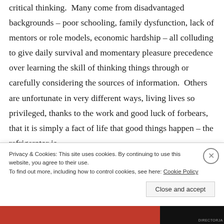critical thinking.  Many come from disadvantaged backgrounds – poor schooling, family dysfunction, lack of mentors or role models, economic hardship – all colluding to give daily survival and momentary pleasure precedence over learning the skill of thinking things through or carefully considering the sources of information.  Others are unfortunate in very different ways, living lives so privileged, thanks to the work and good luck of forbears, that it is simply a fact of life that good things happen – the refrigerator is
Privacy & Cookies: This site uses cookies. By continuing to use this website, you agree to their use.
To find out more, including how to control cookies, see here: Cookie Policy